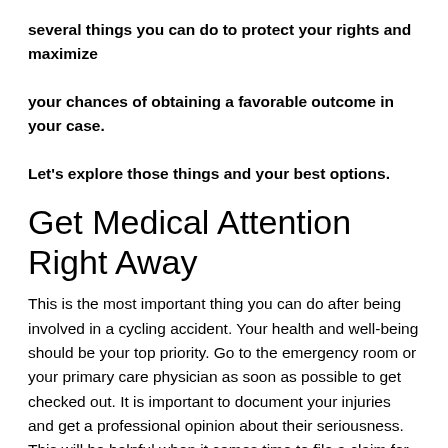several things you can do to protect your rights and maximize your chances of obtaining a favorable outcome in your case. Let's explore those things and your best options.
Get Medical Attention Right Away
This is the most important thing you can do after being involved in a cycling accident. Your health and well-being should be your top priority. Go to the emergency room or your primary care physician as soon as possible to get checked out. It is important to document your injuries and get a professional opinion about their seriousness. This will be helpful when it comes time to file a claim for damages, as explained by Chicago bicycle accident lawyers. This is also important because some injuries, such as concussions, may not be immediately apparent. Additionally, if you wait to...